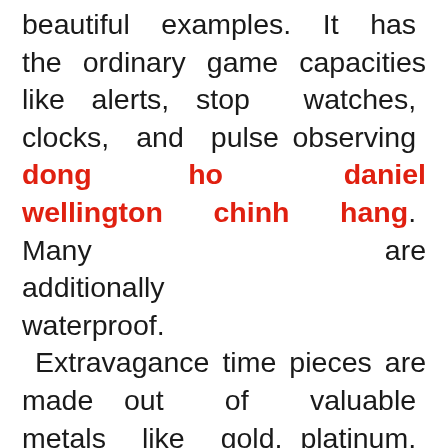beautiful examples. It has the ordinary game capacities like alerts, stop watches, clocks, and pulse observing dong ho daniel wellington chinh hang. Many are additionally waterproof. Extravagance time pieces are made out of valuable metals like gold, platinum, and silver. These watches have jewels and gemstones installed for the duration of the time piece, which is the reason numerous ladies have them guaranteed. A watch like this looks extravagant and